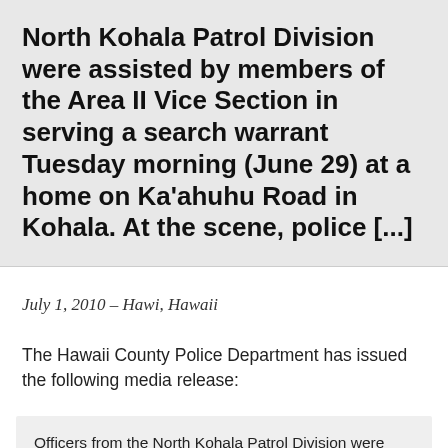North Kohala Patrol Division were assisted by members of the Area II Vice Section in serving a search warrant Tuesday morning (June 29) at a home on Ka'ahuhu Road in Kohala. At the scene, police [...]
July 1, 2010 – Hawi, Hawaii
The Hawaii County Police Department has issued the following media release:
Officers from the North Kohala Patrol Division were assisted by members of the Area II Vice Section in